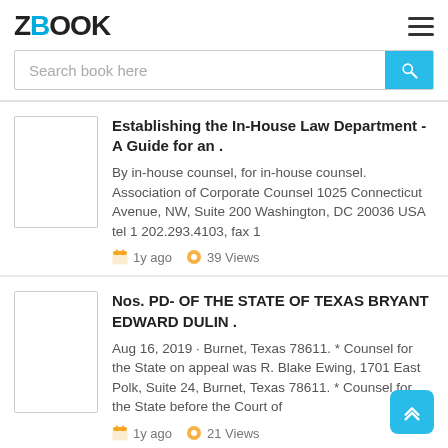ZBOOK
Search book here
Establishing the In-House Law Department - A Guide for an .
By in-house counsel, for in-house counsel. Association of Corporate Counsel 1025 Connecticut Avenue, NW, Suite 200 Washington, DC 20036 USA tel 1 202.293.4103, fax 1
1y ago   39 Views
Nos. PD- OF THE STATE OF TEXAS BRYANT EDWARD DULIN .
Aug 16, 2019 · Burnet, Texas 78611. * Counsel for the State on appeal was R. Blake Ewing, 1701 East Polk, Suite 24, Burnet, Texas 78611. * Counsel for the State before the Court of
1y ago   21 Views